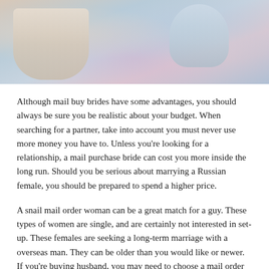[Figure (photo): Close-up photo of hands, possibly wearing a ring, with colorful fabric or accessories in soft blue, pink and green tones.]
Although mail buy brides have some advantages, you should always be sure you be realistic about your budget. When searching for a partner, take into account you must never use more money you have to. Unless you're looking for a relationship, a mail purchase bride can cost you more inside the long run. Should you be serious about marrying a Russian female, you should be prepared to spend a higher price.
A snail mail order woman can be a great match for a guy. These types of women are single, and are certainly not interested in set-up. These females are seeking a long-term marriage with a overseas man. They can be older than you would like or newer. If you're buying husband, you may need to choose a mail order star of the wedding from a list of individuals. In many cases, the couple may become a trophy.
An excellent mail buy bride needs to have a detailed profile. A great site definitely will encourage girls to submit a profile, plus the site will match